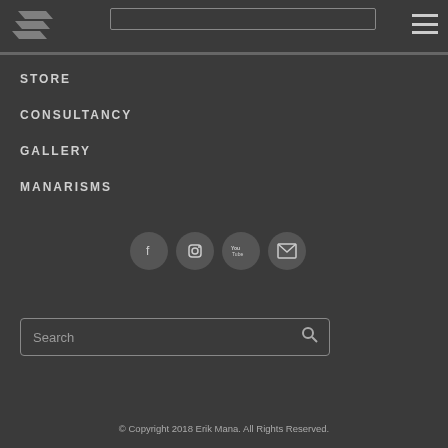[Figure (logo): Stylized geometric logo mark in grey on dark background]
STORE
CONSULTANCY
GALLERY
MANARISMS
[Figure (infographic): Row of four circular social media icons: Facebook, Instagram, YouTube, Email]
[Figure (other): Search input box with placeholder text 'Search' and a magnifying glass icon on the right]
© Copyright 2018 Erik Mana. All Rights Reserved.